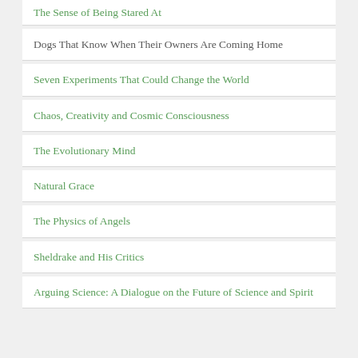The Sense of Being Stared At
Dogs That Know When Their Owners Are Coming Home
Seven Experiments That Could Change the World
Chaos, Creativity and Cosmic Consciousness
The Evolutionary Mind
Natural Grace
The Physics of Angels
Sheldrake and His Critics
Arguing Science: A Dialogue on the Future of Science and Spirit